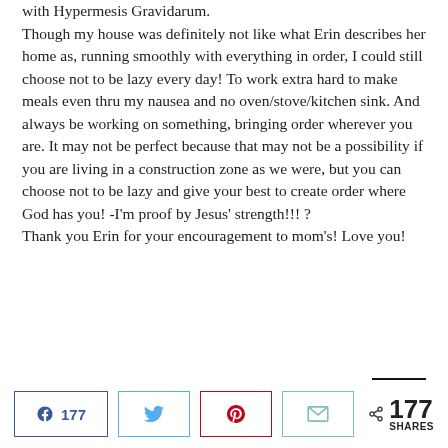with Hypermesis Gravidarum. Though my house was definitely not like what Erin describes her home as, running smoothly with everything in order, I could still choose not to be lazy every day! To work extra hard to make meals even thru my nausea and no oven/stove/kitchen sink. And always be working on something, bringing order wherever you are. It may not be perfect because that may not be a possibility if you are living in a construction zone as we were, but you can choose not to be lazy and give your best to create order where God has you! -I'm proof by Jesus' strength!!! ? Thank you Erin for your encouragement to mom's! Love you!
177 [facebook share] [twitter share] [pinterest share] [email share] 177 SHARES